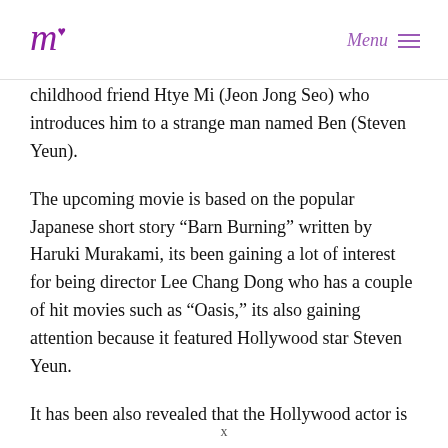m [logo] Menu
childhood friend Htye Mi (Jeon Jong Seo) who introduces him to a strange man named Ben (Steven Yeun).
The upcoming movie is based on the popular Japanese short story “Barn Burning” written by Haruki Murakami, its been gaining a lot of interest for being director Lee Chang Dong who has a couple of hit movies such as “Oasis,” its also gaining attention because it featured Hollywood star Steven Yeun.
It has been also revealed that the Hollywood actor is
x